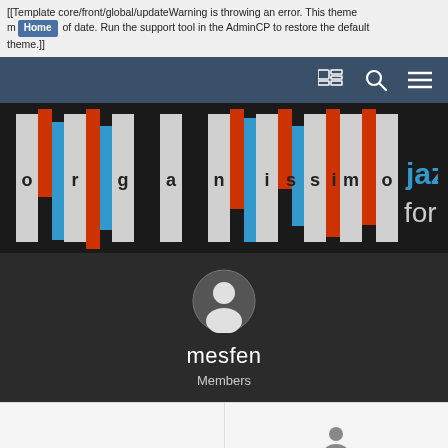[[Template core/front/global/updateWarning is throwing an error. This theme may be out of date. Run the support tool in the AdminCP to restore the default theme.]]
[Figure (screenshot): Navigation bar with Home badge, news icon, search icon, and hamburger menu on dark blue background]
[Figure (logo): Organissimo Jazz Forums logo with colorful vertical bars (white, red, blue, red) and text 'organissimo jazz forums' on dark background]
[Figure (screenshot): User profile section showing default avatar circle, username 'mesfen', and role 'Members' on dark background]
[Figure (screenshot): Bottom strip partially visible, split into two columns with a small avatar icon on the right side]